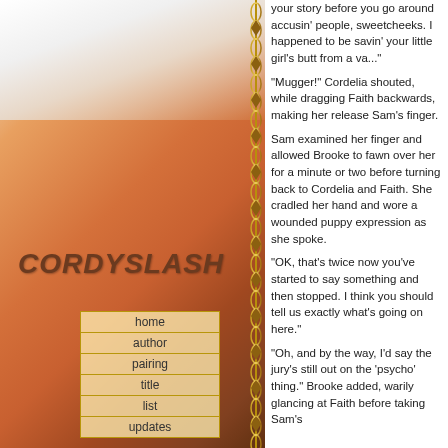[Figure (photo): A website page for 'CordySlash' featuring a close-up photo of a person's back and shoulder with dark hair, wearing a white hat, against an orange-toned background with a chain/thorns border element on the right side of the photo.]
CordySlash
home
author
pairing
title
list
updates
your story before you go around accusin' people, sweetcheeks. I happened to be savin' your little girl's butt from a va...
"Mugger!" Cordelia shouted, while dragging Faith backwards, making her release Sam's finger.
Sam examined her finger and allowed Brooke to fawn over her for a minute or two before turning back to Cordelia and Faith. She cradled her hand and wore a wounded puppy expression as she spoke.
"OK, that's twice now you've started to say something and then stopped. I think you should tell us exactly what's going on here."
"Oh, and by the way, I'd say the jury's still out on the 'psycho' thing." Brooke added, warily glancing at Faith before taking Sam's